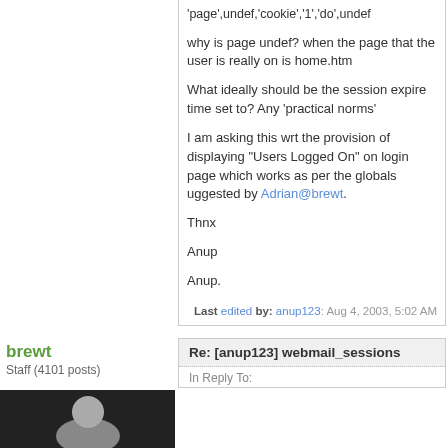'page',undef,'cookie','1','do',undef
why is page undef? when the page that the user is really on is home.htm
What ideally should be the session expire time set to? Any 'practical norms'
I am asking this wrt the provision of displaying "Users Logged On" on login page which works as per the globals uggested by Adrian@brewt.
Thnx
Anup
Anup.
Last edited by: anup123: Aug 4, 2003, 5:02 AM
brewt
Staff (4101 posts)
Re: [anup123] webmail_sessions
In Reply To: